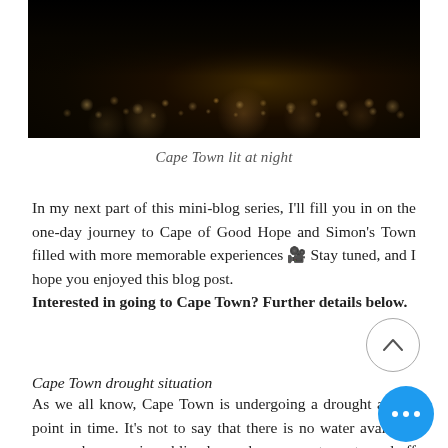[Figure (photo): Night aerial photo of Cape Town city lights against dark sky]
Cape Town lit at night
In my next part of this mini-blog series, I'll fill you in on the one-day journey to Cape of Good Hope and Simon's Town filled with more memorable experiences 🎥 Stay tuned, and I hope you enjoyed this blog post. Interested in going to Cape Town? Further details below.
Cape Town drought situation
As we all know, Cape Town is undergoing a drought at this point in time. It's not to say that there is no water available — however in public places chances are taps are turned off to save water and you will have